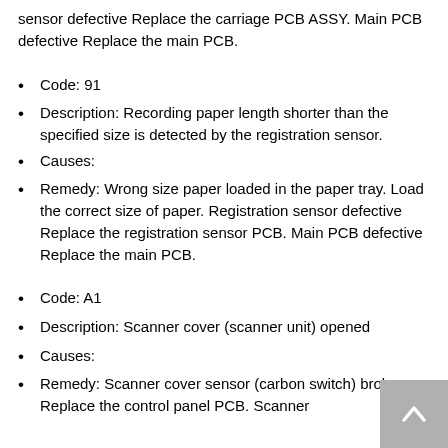sensor defective Replace the carriage PCB ASSY. Main PCB defective Replace the main PCB.
Code: 91
Description: Recording paper length shorter than the specified size is detected by the registration sensor.
Causes:
Remedy: Wrong size paper loaded in the paper tray. Load the correct size of paper. Registration sensor defective Replace the registration sensor PCB. Main PCB defective Replace the main PCB.
Code: A1
Description: Scanner cover (scanner unit) opened
Causes:
Remedy: Scanner cover sensor (carbon switch) broken Replace the control panel PCB. Scanner